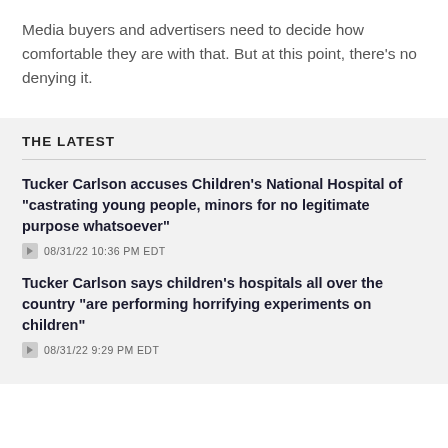Media buyers and advertisers need to decide how comfortable they are with that. But at this point, there's no denying it.
THE LATEST
Tucker Carlson accuses Children's National Hospital of "castrating young people, minors for no legitimate purpose whatsoever"
08/31/22 10:36 PM EDT
Tucker Carlson says children's hospitals all over the country "are performing horrifying experiments on children"
08/31/22 9:29 PM EDT